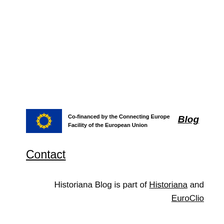[Figure (logo): EU flag logo with text: Co-financed by the Connecting Europe Facility of the European Union]
Blog
Contact
Historiana Blog is part of Historiana and EuroClio